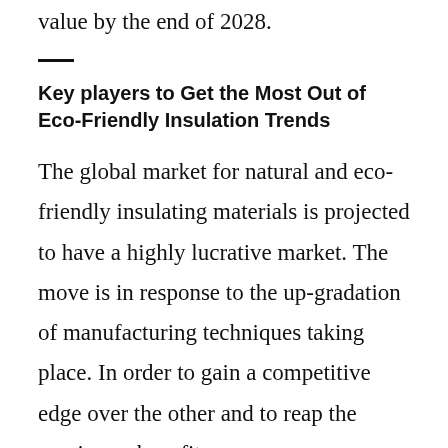value by the end of 2028.
Key players to Get the Most Out of Eco-Friendly Insulation Trends
The global market for natural and eco-friendly insulating materials is projected to have a highly lucrative market. The move is in response to the up-gradation of manufacturing techniques taking place. In order to gain a competitive edge over the other and to reap the maximum benefits,